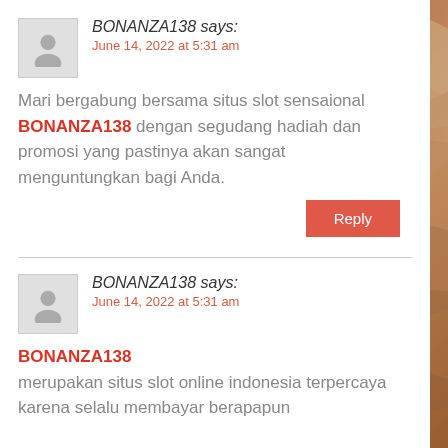BONANZA138 says:
June 14, 2022 at 5:31 am
Mari bergabung bersama situs slot sensaional BONANZA138 dengan segudang hadiah dan promosi yang pastinya akan sangat menguntungkan bagi Anda.
Reply
BONANZA138 says:
June 14, 2022 at 5:31 am
BONANZA138 merupakan situs slot online indonesia terpercaya karena selalu membayar berapapun